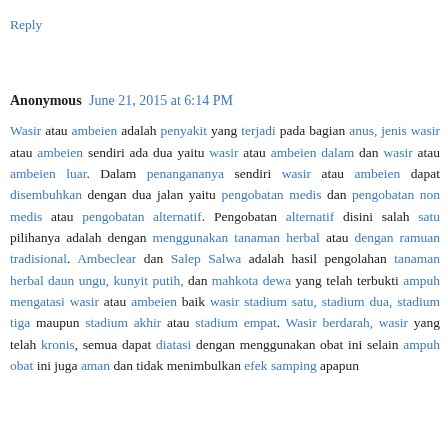keluar nanah kencing nanah denature nanah keluar dan kemaluan
Reply
Anonymous June 21, 2015 at 6:14 PM
Wasir atau ambeien adalah penyakit yang terjadi pada bagian anus, jenis wasir atau ambeien sendiri ada dua yaitu wasir atau ambeien dalam dan wasir atau ambeien luar. Dalam penangananya sendiri wasir atau ambeien dapat disembuhkan dengan dua jalan yaitu pengobatan medis dan pengobatan non medis atau pengobatan alternatif. Pengobatan alternatif disini salah satu pilihanya adalah dengan menggunakan tanaman herbal atau dengan ramuan tradisional. Ambeclear dan Salep Salwa adalah hasil pengolahan tanaman herbal daun ungu, kunyit putih, dan mahkota dewa yang telah terbukti ampuh mengatasi wasir atau ambeien baik wasir stadium satu, stadium dua, stadium tiga maupun stadium akhir atau stadium empat. Wasir berdarah, wasir yang telah kronis, semua dapat diatasi dengan menggunakan obat ini selain ampuh obat ini juga aman dan tidak menimbulkan efek samping apapun